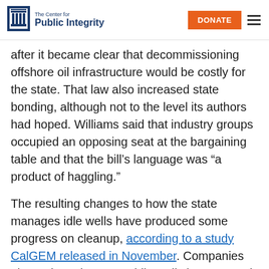The Center for Public Integrity | DONATE
after it became clear that decommissioning offshore oil infrastructure would be costly for the state. That law also increased state bonding, although not to the level its authors had hoped. Williams said that industry groups occupied an opposing seat at the bargaining table and that the bill’s language was “a product of haggling.”
The resulting changes to how the state manages idle wells have produced some progress on cleanup, according to a study CalGEM released in November. Companies plugged 988 long-term idle wells in 2018, and nine operators